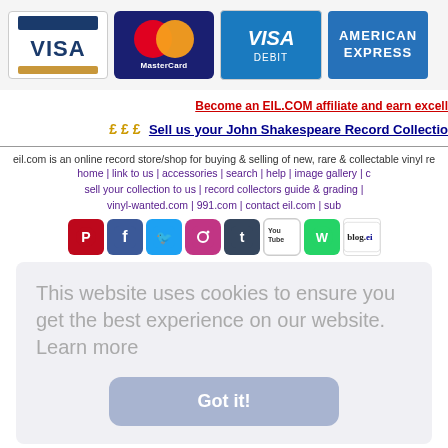[Figure (illustration): Payment method icons: Visa, MasterCard, Visa Debit, American Express]
Become an EIL.COM affiliate and earn excell...
£ £ £ Sell us your John Shakespeare Record Collectio...
eil.com is an online record store/shop for buying & selling of new, rare & collectable vinyl re...
home | link to us | accessories | search | help | image gallery | c...
sell your collection to us | record collectors guide & grading | ...
vinyl-wanted.com | 991.com | contact eil.com | sub...
[Figure (illustration): Social media icons: Pinterest, Facebook, Twitter, Instagram, Tumblr, YouTube, WhatsApp, blog.eil]
©1996-2022 eil.com | privacy policy, cookies policy, ordering info...
This website uses cookies to ensure you get the best experience on our website. Learn more